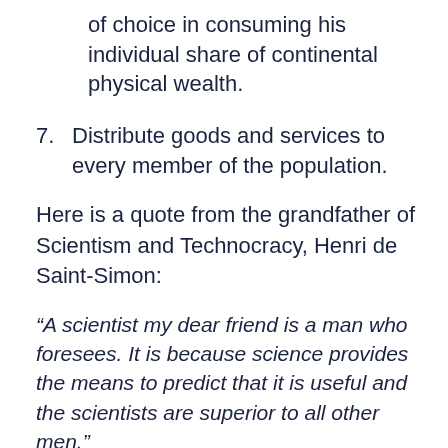of choice in consuming his individual share of continental physical wealth.
7. Distribute goods and services to every member of the population.
Here is a quote from the grandfather of Scientism and Technocracy, Henri de Saint-Simon:
“A scientist my dear friend is a man who foresees. It is because science provides the means to predict that it is useful and the scientists are superior to all other men.”